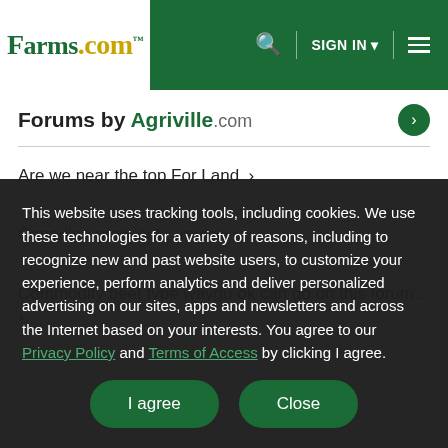Farms.com — SIGN IN — Navigation menu
Forums by Agriville.com
Are we near the top For Land. ›
Canadian grain act ...review ›
Commodity beef type waygu ok can go on this forum... ›
This website uses tracking tools, including cookies. We use these technologies for a variety of reasons, including to recognize new and past website users, to customize your experience, perform analytics and deliver personalized advertising on our sites, apps and newsletters and across the Internet based on your interests. You agree to our Privacy Policy and Terms of Access by clicking I agree.